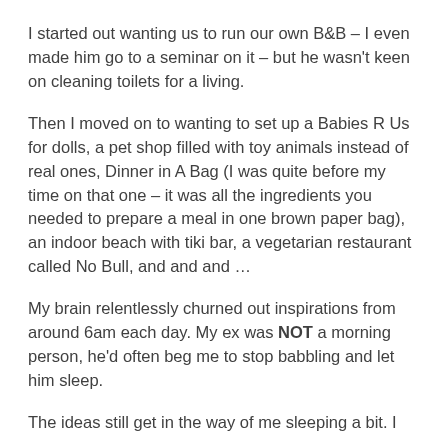I started out wanting us to run our own B&B – I even made him go to a seminar on it – but he wasn't keen on cleaning toilets for a living.
Then I moved on to wanting to set up a Babies R Us for dolls, a pet shop filled with toy animals instead of real ones, Dinner in A Bag (I was quite before my time on that one – it was all the ingredients you needed to prepare a meal in one brown paper bag), an indoor beach with tiki bar, a vegetarian restaurant called No Bull, and and and …
My brain relentlessly churned out inspirations from around 6am each day. My ex was NOT a morning person, he'd often beg me to stop babbling and let him sleep.
The ideas still get in the way of me sleeping a bit. I